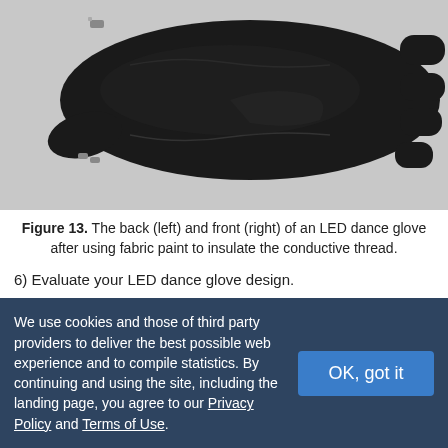[Figure (photo): Photo of the back (left) and front (right) of a black LED dance glove after using fabric paint to insulate the conductive thread. The glove is shown against a light gray/white background.]
Figure 13. The back (left) and front (right) of an LED dance glove after using fabric paint to insulate the conductive thread.
6) Evaluate your LED dance glove design.
a. How easy is it to turn your glove on and off?
b. Are the LEDs placed in good positions to make designs with the glove?
We use cookies and those of third party providers to deliver the best possible web experience and to compile statistics. By continuing and using the site, including the landing page, you agree to our Privacy Policy and Terms of Use.